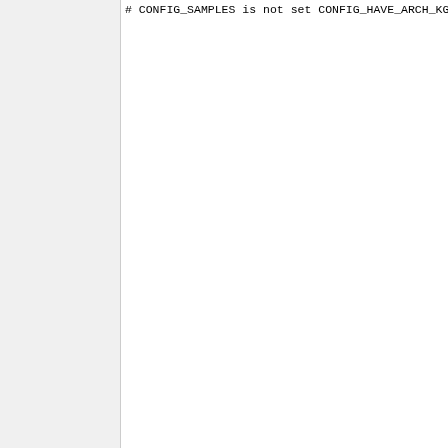# CONFIG_SAMPLES is not set
CONFIG_HAVE_ARCH_KGDB=y
# CONFIG_KGDB is not set
# CONFIG_STRICT_DEVMEM is not se
# CONFIG_X86_VERBOSE_BOOTUP is n
CONFIG_EARLY_PRINTK=y
# CONFIG_EARLY_PRINTK_DBGP is no
# CONFIG_EARLY_PRINTK_EFI is not
# CONFIG_X86_PTDUMP_CORE is not
# CONFIG_X86_PTDUMP is not set
# CONFIG_EFI_PGT_DUMP is not set
CONFIG_DEBUG_RODATA=y
# CONFIG_DEBUG_RODATA_TEST is no
# CONFIG_DEBUG_WX is not set
# CONFIG_DEBUG_SET_MODULE_RONX i
# CONFIG_DEBUG_NX_TEST is not se
CONFIG_DOUBLEFAULT=y
# CONFIG_DEBUG_TLBFLUSH is not s
# CONFIG_IOMMU_STRESS is not set
CONFIG_HAVE_MMIOTRACE_SUPPORT=y
# CONFIG_X86_DECODER_SELFTEST is
CONFIG_IO_DELAY_TYPE_0X80=0
CONFIG_IO_DELAY_TYPE_0XED=1
CONFIG_IO_DELAY_TYPE_UDELAY=2
CONFIG_IO_DELAY_TYPE_NONE=3
CONFIG_IO_DELAY_0X80=y
# CONFIG_IO_DELAY_0XED is not se
# CONFIG_IO_DELAY_UDELAY is not
# CONFIG_IO_DELAY_NONE is not se
CONFIG_DEFAULT_IO_DELAY_TYPE=0
# CONFIG_DEBUG_BOOT_PARAMS is no
# CONFIG_CPA_DEBUG is not set
CONFIG_OPTIMIZE_INLINING=y